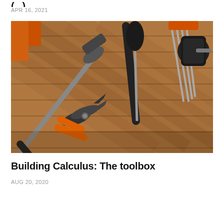APR 16, 2021
[Figure (photo): Overhead photo of various tools on wooden planks: hammer, pliers with orange handles, screwdriver, hex keys, and tape measure]
Building Calculus: The toolbox
AUG 20, 2020